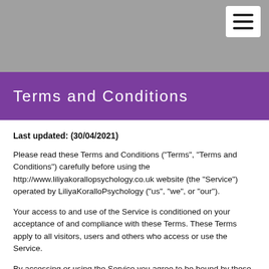[Figure (other): Gray header bar with white hamburger menu button in top-right corner]
Terms and Conditions
Last updated: (30/04/2021)
Please read these Terms and Conditions ("Terms", "Terms and Conditions") carefully before using the http://www.liliyakorallopsychology.co.uk website (the "Service") operated by LiliyaKoralloPsychology ("us", "we", or "our").
Your access to and use of the Service is conditioned on your acceptance of and compliance with these Terms. These Terms apply to all visitors, users and others who access or use the Service.
By accessing or using the Service you agree to be bound by these Terms. If you disagree with any part of the terms then you may not access the Service.
Purchases
If you wish to purchase any product or service made